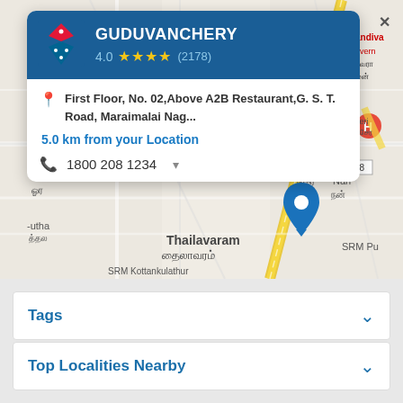[Figure (screenshot): Google Maps screenshot showing Guduvanchery area with Thailavaram/தைலாவரம் visible, road network, Tamil text labels, and a blue location pin in the center of the map.]
GUDUVANCHERY
4.0 ★★★★ (2178)
First Floor, No. 02,Above A2B Restaurant,G. S. T. Road, Maraimalai Nag...
5.0 km from your Location
1800 208 1234
Tags
Top Localities Nearby